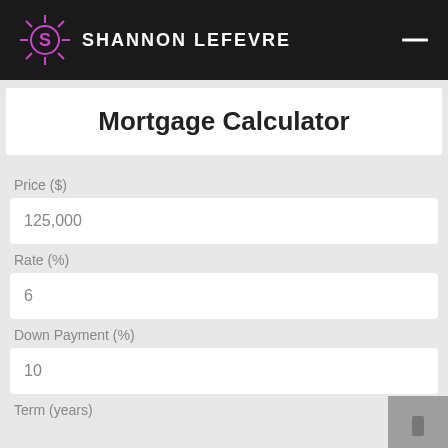SHANNON LEFEVRE
Mortgage Calculator
Price ($)
125,000
Rate (%)
6
Down Payment (%)
10
Term (years)